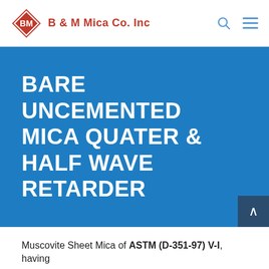B & M Mica Co. Inc
BARE UNCEMENTED MICA QUATER & HALF WAVE RETARDER
Muscovite Sheet Mica of ASTM (D-351-97) V-I, having